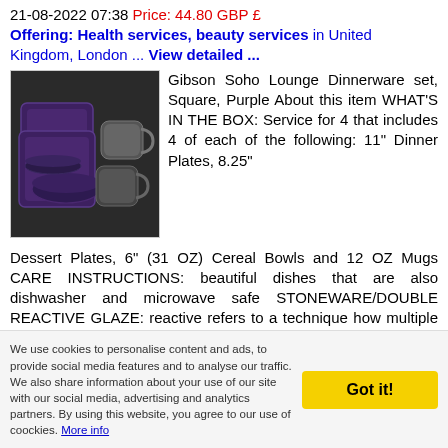21-08-2022 07:38 Price: 44.80 GBP £
Offering: Health services, beauty services in United Kingdom, London ... View detailed ...
[Figure (photo): Photo of Gibson Soho Lounge Dinnerware set, square shaped, purple/dark colored plates, bowls and mugs]
Gibson Soho Lounge Dinnerware set, Square, Purple About this item WHAT'S IN THE BOX: Service for 4 that includes 4 of each of the following: 11" Dinner Plates, 8.25" Dessert Plates, 6" (31 OZ) Cereal Bowls and 12 OZ Mugs CARE INSTRUCTIONS: beautiful dishes that are also dishwasher and microwave safe STONEWARE/DOUBLE REACTIVE GLAZE: reactive refers to a technique how multiple colors within the glaze react together to create a dreamlike, vibrant quality to the colors and hues.
Toshiba Digital Programmable Rice Cooker- https://amzn.to/3AxznuM
19-08-2022 17:53 Price: 62.79 GBP £
Offering: Health services, beauty services in United
We use cookies to personalise content and ads, to provide social media features and to analyse our traffic. We also share information about your use of our site with our social media, advertising and analytics partners. By using this website, you agree to our use of coockies. More info